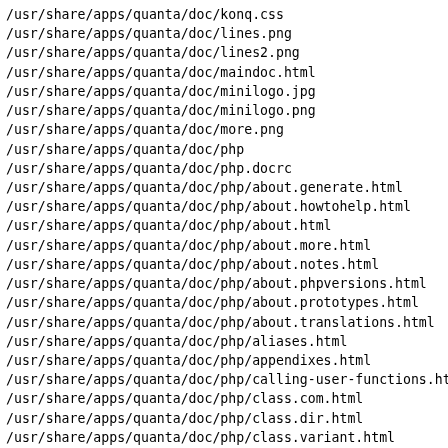/usr/share/apps/quanta/doc/konq.css
/usr/share/apps/quanta/doc/lines.png
/usr/share/apps/quanta/doc/lines2.png
/usr/share/apps/quanta/doc/maindoc.html
/usr/share/apps/quanta/doc/minilogo.jpg
/usr/share/apps/quanta/doc/minilogo.png
/usr/share/apps/quanta/doc/more.png
/usr/share/apps/quanta/doc/php
/usr/share/apps/quanta/doc/php.docrc
/usr/share/apps/quanta/doc/php/about.generate.html
/usr/share/apps/quanta/doc/php/about.howtohelp.html
/usr/share/apps/quanta/doc/php/about.html
/usr/share/apps/quanta/doc/php/about.more.html
/usr/share/apps/quanta/doc/php/about.notes.html
/usr/share/apps/quanta/doc/php/about.phpversions.html
/usr/share/apps/quanta/doc/php/about.prototypes.html
/usr/share/apps/quanta/doc/php/about.translations.html
/usr/share/apps/quanta/doc/php/aliases.html
/usr/share/apps/quanta/doc/php/appendixes.html
/usr/share/apps/quanta/doc/php/calling-user-functions.htm
/usr/share/apps/quanta/doc/php/class.com.html
/usr/share/apps/quanta/doc/php/class.dir.html
/usr/share/apps/quanta/doc/php/class.variant.html
/usr/share/apps/quanta/doc/php/configuration.changes.html
/usr/share/apps/quanta/doc/php/configuration.directives.h
/usr/share/apps/quanta/doc/php/configuration.html
/usr/share/apps/quanta/doc/php/control-structures.alterna
/usr/share/apps/quanta/doc/php/control-structures.break.h
/usr/share/apps/quanta/doc/php/control-structures.continu
/usr/share/apps/quanta/doc/php/control-structures.declare